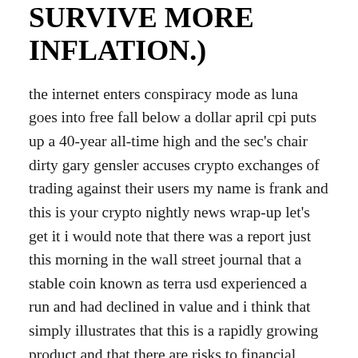SURVIVE MORE INFLATION.)
the internet enters conspiracy mode as luna goes into free fall below a dollar april cpi puts up a 40-year all-time high and the sec's chair dirty gary gensler accuses crypto exchanges of trading against their users my name is frank and this is your crypto nightly news wrap-up let's get it i would note that there was a report just this morning in the wall street journal that a stable coin known as terra usd experienced a run and had declined in value and i think that simply illustrates that this is a rapidly growing product and that there are risks to financial stability and we need a framework that's appropriate as a result of ust losing its peg to the dollar luna's founder dokwan has been taking emergency measures and promises his project to return to form but so far it's not going to plan not even a little bit the luna foundation was forced to sell their entire